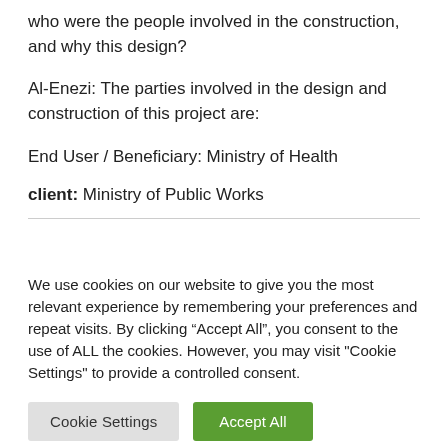who were the people involved in the construction, and why this design?
Al-Enezi: The parties involved in the design and construction of this project are:
End User / Beneficiary: Ministry of Health
client: Ministry of Public Works
We use cookies on our website to give you the most relevant experience by remembering your preferences and repeat visits. By clicking “Accept All”, you consent to the use of ALL the cookies. However, you may visit "Cookie Settings" to provide a controlled consent.